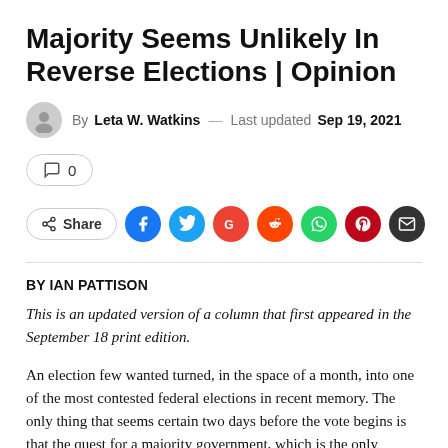Majority Seems Unlikely In Reverse Elections | Opinion
By Leta W. Watkins — Last updated Sep 19, 2021
[Figure (infographic): Comment count button showing 0 comments, followed by a Share button and social media icons for Facebook, Twitter, Google, Reddit, WhatsApp, Pinterest, and Email]
BY IAN PATTISON
This is an updated version of a column that first appeared in the September 18 print edition.
An election few wanted turned, in the space of a month, into one of the most contested federal elections in recent memory. The only thing that seems certain two days before the vote begins is that the quest for a majority government, which is the only